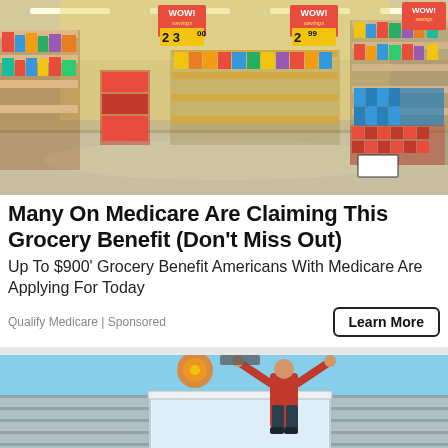[Figure (photo): Interior of a grocery store aisle showing shelves stocked with products, yellow WOW! savings signs hanging from ceiling, price tags showing $2.30 and $2.99]
Many On Medicare Are Claiming This Grocery Benefit (Don't Miss Out)
Up To $900' Grocery Benefit Americans With Medicare Are Applying For Today
Qualify Medicare | Sponsored
[Figure (photo): Person installing or working on something on the exterior of a house, visible siding and window, holding equipment overhead against a blue sky]